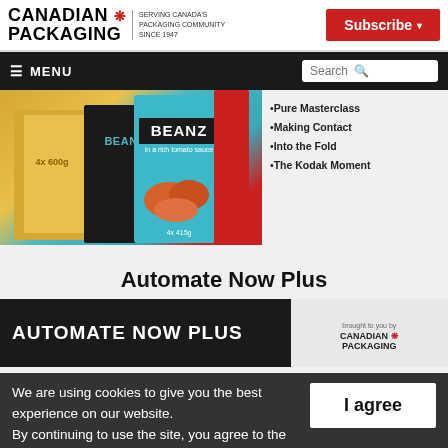CANADIAN PACKAGING - SERVING CANADA'S PACKAGING COMMUNITY SINCE 1947 | Subscribe
≡ MENU | Search
[Figure (photo): Product photo showing Heinz Beanz cans and packaging, teal/blue boxes with BEANZ label]
Pure Masterclass
Making Contact
Into the Fold
The Kodak Moment
Automate Now Plus
[Figure (screenshot): Automate Now Plus magazine cover/banner with industrial machinery background and Canadian Packaging logo]
We are using cookies to give you the best experience on our website.
By continuing to use the site, you agree to the use of cookies.
To find out more, read our privacy policy.